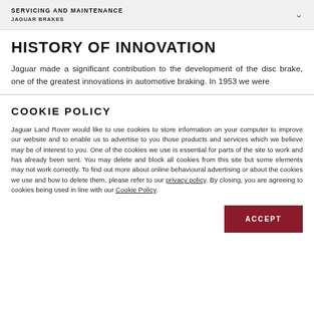SERVICING AND MAINTENANCE
JAGUAR BRAKES
HISTORY OF INNOVATION
Jaguar made a significant contribution to the development of the disc brake, one of the greatest innovations in automotive braking. In 1953 we were
COOKIE POLICY
Jaguar Land Rover would like to use cookies to store information on your computer to improve our website and to enable us to advertise to you those products and services which we believe may be of interest to you. One of the cookies we use is essential for parts of the site to work and has already been sent. You may delete and block all cookies from this site but some elements may not work correctly. To find out more about online behavioural advertising or about the cookies we use and how to delete them, please refer to our privacy policy. By closing, you are agreeing to cookies being used in line with our Cookie Policy.